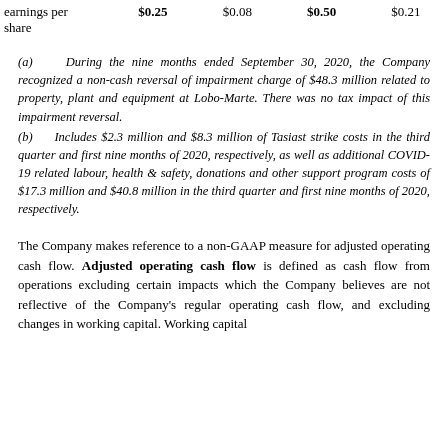|  |  |  |  |  |
| --- | --- | --- | --- | --- |
| earnings per share | $0.25 | $0.08 | $0.50 | $0.21 |
(a)    During the nine months ended September 30, 2020, the Company recognized a non-cash reversal of impairment charge of $48.3 million related to property, plant and equipment at Lobo-Marte. There was no tax impact of this impairment reversal.
(b)    Includes $2.3 million and $8.3 million of Tasiast strike costs in the third quarter and first nine months of 2020, respectively, as well as additional COVID-19 related labour, health & safety, donations and other support program costs of $17.3 million and $40.8 million in the third quarter and first nine months of 2020, respectively.
The Company makes reference to a non-GAAP measure for adjusted operating cash flow. Adjusted operating cash flow is defined as cash flow from operations excluding certain impacts which the Company believes are not reflective of the Company’s regular operating cash flow, and excluding changes in working capital. Working capital